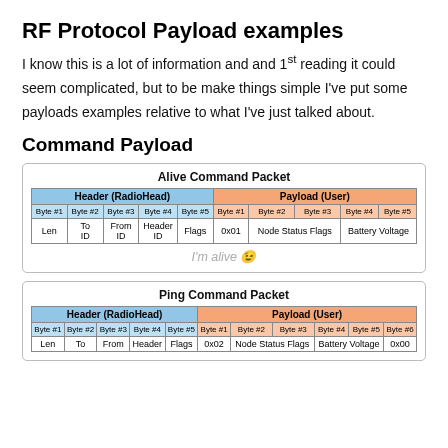RF Protocol Payload examples
I know this is a lot of information and and 1st reading it could seem complicated, but to be make things simple I've put some payloads examples relative to what I've just talked about.
Command Payload
| Header (RadioHead) | Payload (User) |
| --- | --- |
| Byte #1 | Byte #2 | Byte #3 | Byte #4 | Byte #5 | Byte #1 | Byte #2 | Byte #3 | Byte #4 | Byte #5 |
| Len | To ID | From ID | Header ID | Flags | 0x01 | Node Status Flags |  | Battery Voltage |  |
I'm alive 😉
| Header (RadioHead) | Payload (User) |
| --- | --- |
| Byte #1 | Byte #2 | Byte #3 | Byte #4 | Byte #5 | Byte #1 | Byte #2 | Byte #3 | Byte #4 | Byte #5 | Byte #6 |
| Len | To | From | Header | Flags | 0x02 | Node Status Flags |  | Battery Voltage |  | 0x00 |